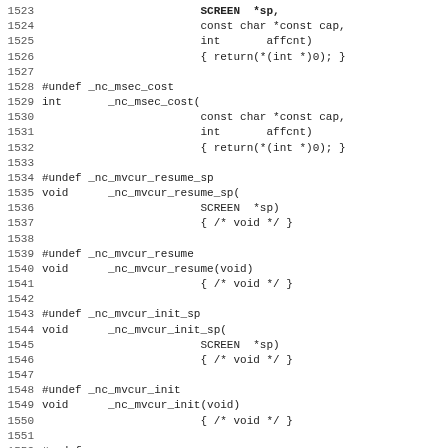Source code listing, lines 1523-1555, showing C preprocessor #undef macros and stub function definitions for ncurses internal functions: _nc_msec_cost, _nc_mvcur_resume_sp, _nc_mvcur_resume, _nc_mvcur_init_sp, _nc_mvcur_init, _nc_mvcur_wrap_sp